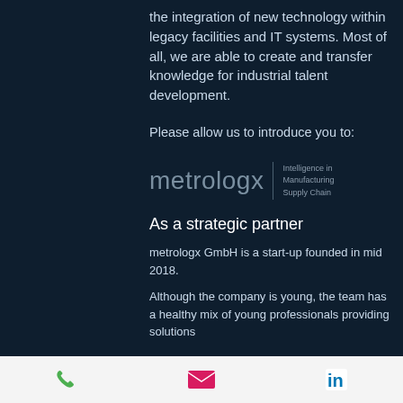the integration of new technology within legacy facilities and IT systems. Most of all, we are able to create and transfer knowledge for industrial talent development.
Please allow us to introduce you to:
[Figure (logo): metrologx logo with tagline 'Intelligence in Manufacturing Supply Chain']
As a strategic partner
metrologx GmbH is a start-up founded in mid 2018.
Although the company is young, the team has a healthy mix of young professionals providing solutions
Phone | Email | LinkedIn